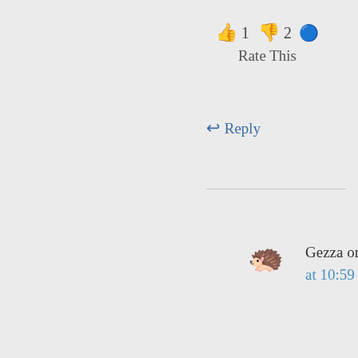👍 1 👎 2 ℹ️ Rate This
↩ Reply
Gezza on 25th April 2019 at 10:59 am
The same way the elbow does, I imagine. If the elbow votes & doesn't just spend the day bending the